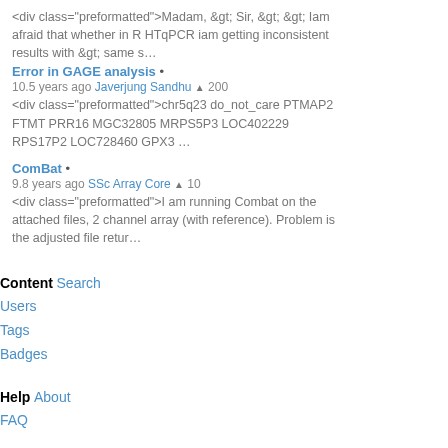<div class="preformatted">Madam, &gt; Sir, &gt; &gt; Iam afraid that whether in R HTqPCR iam getting inconsistent results with &gt; same s…
Error in GAGE analysis • 10.5 years ago Javerjung Sandhu ▲ 200
<div class="preformatted">chr5q23 do_not_care PTMAP2 FTMT PRR16 MGC32805 MRPS5P3 LOC402229 RPS17P2 LOC728460 GPX3 …
ComBat • 9.8 years ago SSc Array Core ▲ 10
<div class="preformatted">I am running Combat on the attached files, 2 channel array (with reference). Problem is the adjusted file retur…
Content Search
Users
Tags
Badges
Help About
FAQ
Traffic: 489 users visited in the last hour
Access RSS